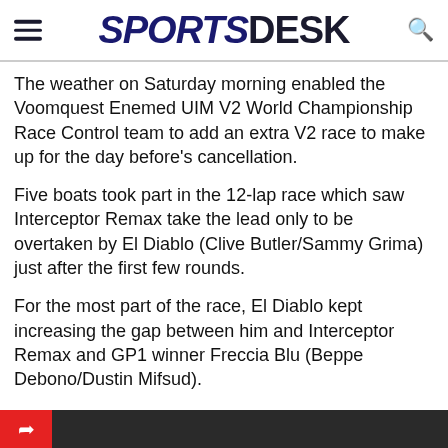SPORTSDESK
The weather on Saturday morning enabled the Voomquest Enemed UIM V2 World Championship Race Control team to add an extra V2 race to make up for the day before's cancellation.
Five boats took part in the 12-lap race which saw Interceptor Remax take the lead only to be overtaken by El Diablo (Clive Butler/Sammy Grima) just after the first few rounds.
For the most part of the race, El Diablo kept increasing the gap between him and Interceptor Remax and GP1 winner Freccia Blu (Beppe Debono/Dustin Mifsud).